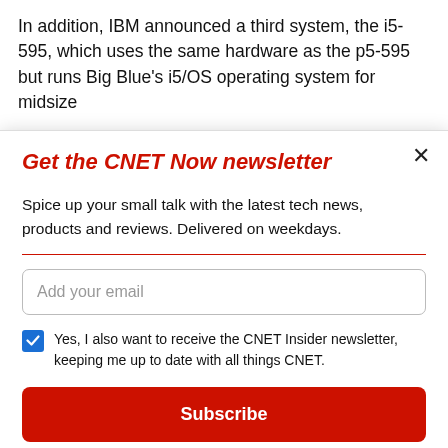In addition, IBM announced a third system, the i5-595, which uses the same hardware as the p5-595 but runs Big Blue's i5/OS operating system for midsize
Get the CNET Now newsletter
Spice up your small talk with the latest tech news, products and reviews. Delivered on weekdays.
Add your email
Yes, I also want to receive the CNET Insider newsletter, keeping me up to date with all things CNET.
Subscribe
By signing up, you agree to our Terms of Use and acknowledge the data practices in our Privacy Policy. You may unsubscribe at any time.